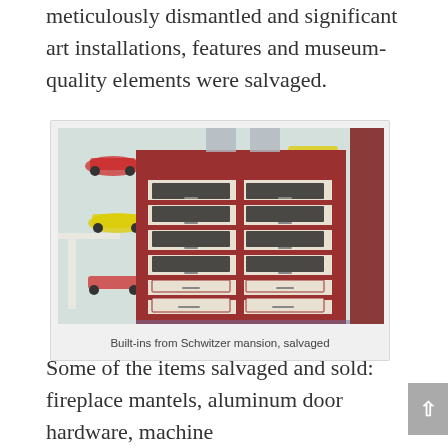meticulously dismantled and significant art installations, features and museum-quality elements were salvaged.
[Figure (photo): A multi-drawer cabinet/built-in unit with dark red trim and cream-colored drawer faces, set against wallpaper featuring colorful vintage cars. The cabinet has multiple rows of drawers with horizontal window-like glass panels.]
Built-ins from Schwitzer mansion, salvaged
Some of the items salvaged and sold: fireplace mantels, aluminum door hardware, machine